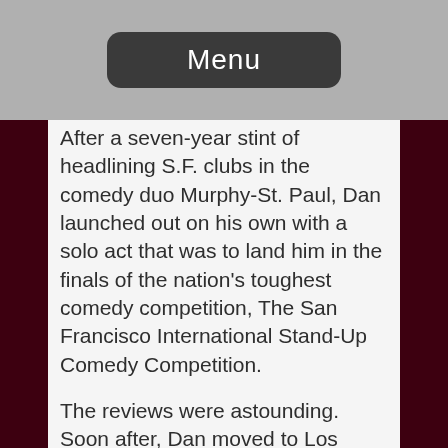Menu
After a seven-year stint of headlining S.F. clubs in the comedy duo Murphy-St. Paul, Dan launched out on his own with a solo act that was to land him in the finals of the nation's toughest comedy competition, The San Francisco International Stand-Up Comedy Competition.
The reviews were astounding. Soon after, Dan moved to Los Angeles and appeared on several episodes of “An Evening at the Improv”, VH-1, MTV, and “Comic Strip Live”. Since then, he has opened for such superstars as Jerry Seinfeld, Natalie Cole, Smokey Robinson, and Vince Gill. And in a testament to the classiness of his act, Dan opened for the San Francisco Symphony (“Aren’t these guys great? I